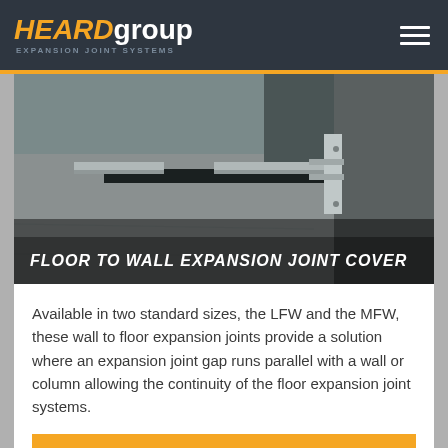HEARD group — EXPANSION JOINT SYSTEMS
[Figure (photo): Photo of a floor-to-wall expansion joint cover installed at a concrete floor-wall junction, showing metal cover plates and joint gap.]
FLOOR TO WALL EXPANSION JOINT COVER
Available in two standard sizes, the LFW and the MFW, these wall to floor expansion joints provide a solution where an expansion joint gap runs parallel with a wall or column allowing the continuity of the floor expansion joint systems.
MORE INFO